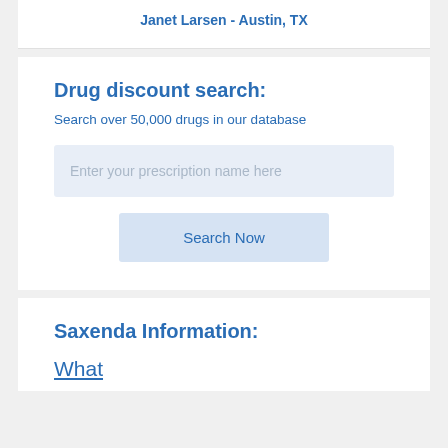Janet Larsen - Austin, TX
Drug discount search:
Search over 50,000 drugs in our database
Enter your prescription name here
Search Now
Saxenda Information:
What